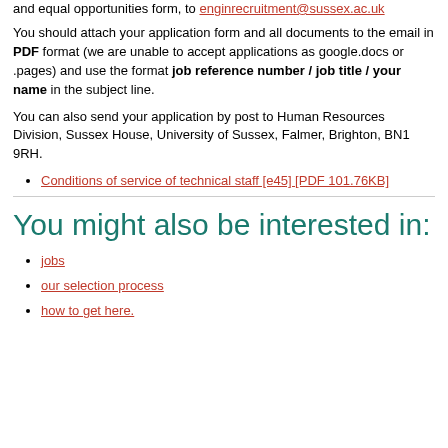and equal opportunities form, to enginrecruitment@sussex.ac.uk
You should attach your application form and all documents to the email in PDF format (we are unable to accept applications as google.docs or .pages) and use the format job reference number / job title / your name in the subject line.
You can also send your application by post to Human Resources Division, Sussex House, University of Sussex, Falmer, Brighton, BN1 9RH.
Conditions of service of technical staff [e45] [PDF 101.76KB]
You might also be interested in:
jobs
our selection process
how to get here.